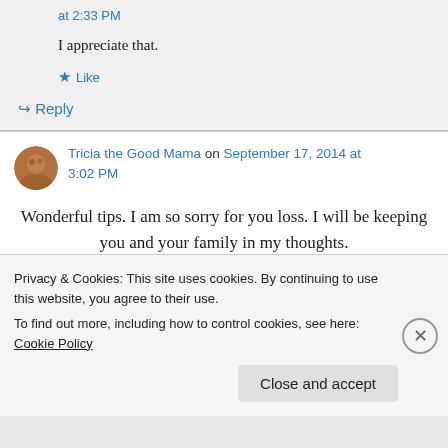at 2:33 PM
I appreciate that.
★ Like
↪ Reply
Tricia the Good Mama on September 17, 2014 at 3:02 PM
Wonderful tips. I am so sorry for you loss. I will be keeping you and your family in my thoughts.
Privacy & Cookies: This site uses cookies. By continuing to use this website, you agree to their use.
To find out more, including how to control cookies, see here: Cookie Policy
Close and accept